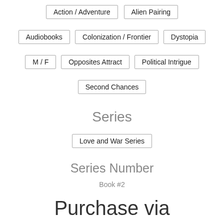Action / Adventure
Alien Pairing
Audiobooks
Colonization / Frontier
Dystopia
M / F
Opposites Attract
Political Intrigue
Second Chances
Series
Love and War Series
Series Number
Book #2
Purchase via